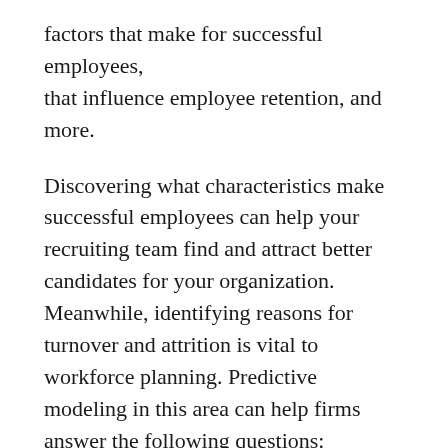factors that make for successful employees, that influence employee retention, and more.
Discovering what characteristics make successful employees can help your recruiting team find and attract better candidates for your organization. Meanwhile, identifying reasons for turnover and attrition is vital to workforce planning. Predictive modeling in this area can help firms answer the following questions:
Who is at risk of leaving the company?
What is it that persuades employees to go?
What can we do to retain our best employees?